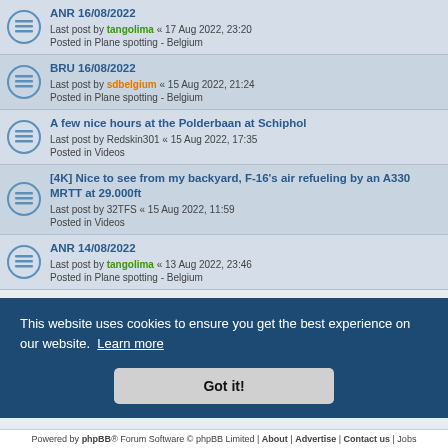ANR 16/08/2022 — Last post by tangolima « 17 Aug 2022, 23:20 — Posted in Plane spotting - Belgium
BRU 16/08/2022 — Last post by sdbelgium « 15 Aug 2022, 21:24 — Posted in Plane spotting - Belgium
A few nice hours at the Polderbaan at Schiphol — Last post by Redskin301 « 15 Aug 2022, 17:35 — Posted in Videos
[4K] Nice to see from my backyard, F-16's air refueling by an A330 MRTT at 29.000ft — Last post by 32TFS « 15 Aug 2022, 11:59 — Posted in Videos
ANR 14/08/2022 — Last post by tangolima « 13 Aug 2022, 23:46 — Posted in Plane spotting - Belgium
This website uses cookies to ensure you get the best experience on our website. Learn more
Got it!
Powered by phpBB® Forum Software © phpBB Limited | About | Advertise | Contact us | Jobs